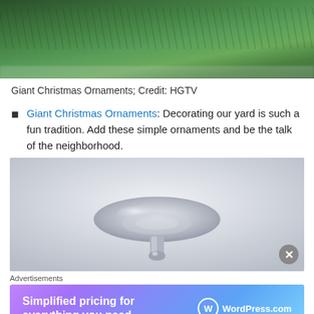[Figure (photo): Top portion of a Christmas greenery arrangement with pine/cedar branches on a gray surface]
Giant Christmas Ornaments; Credit: HGTV
Giant Christmas Ornaments: Decorating our yard is such a fun tradition. Add these simple ornaments and be the talk of the neighborhood.
[Figure (photo): Close-up photo of a glass/transparent Christmas ornament cap/top piece against a light gray-white background]
Advertisements
[Figure (screenshot): WordPress.com advertisement banner with purple-blue gradient reading 'Simplified pricing for everything you need. WordPress.com']